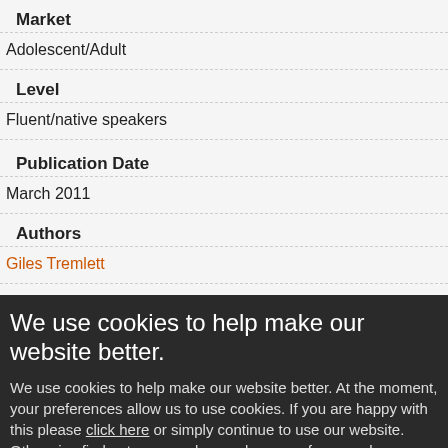Market
Adolescent/Adult
Level
Fluent/native speakers
Publication Date
March 2011
Authors
Giles Tremlett
Binding
Paperback
We use cookies to help make our website better.
We use cookies to help make our website better. At the moment, your preferences allow us to use cookies. If you are happy with this please click here or simply continue to use our website. Otherwise find out more and amend your preferences here.